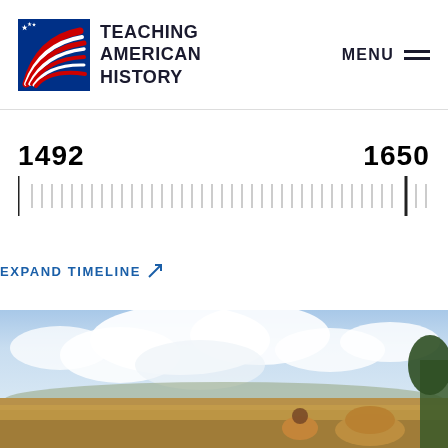[Figure (logo): Teaching American History logo with stylized American flag arc and organization name]
MENU
[Figure (infographic): Historical timeline showing years 1492 and 1650 with tick marks across the width]
EXPAND TIMELINE
[Figure (photo): Painting of a pastoral harvest scene with cloudy sky, farm workers and haystacks in a field]